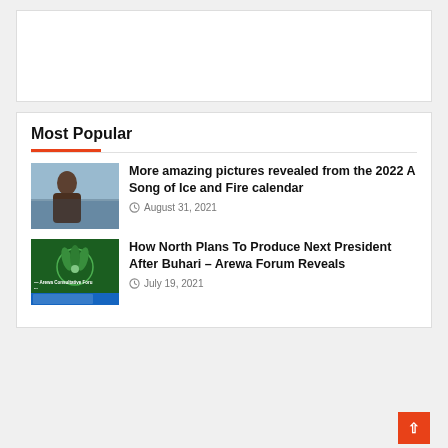[Figure (other): Advertisement placeholder box (white rectangle)]
Most Popular
[Figure (photo): Thumbnail image of a young woman with long brown hair in a wintry/snowy background]
More amazing pictures revealed from the 2022 A Song of Ice and Fire calendar
August 31, 2021
[Figure (photo): Thumbnail image of Arewa Consultative Forum logo on a green Nigerian-styled background with blue bottom bar]
How North Plans To Produce Next President After Buhari – Arewa Forum Reveals
July 19, 2021